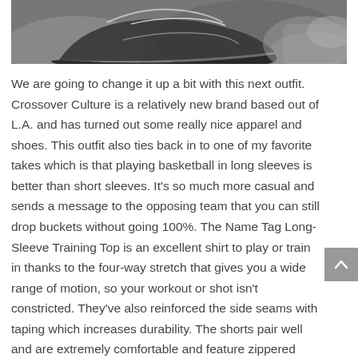[Figure (photo): Partial image of a sneaker/athletic shoe, shown in black and white, cropped at the bottom of the frame with a rocky/textured background.]
We are going to change it up a bit with this next outfit. Crossover Culture is a relatively new brand based out of L.A. and has turned out some really nice apparel and shoes. This outfit also ties back in to one of my favorite takes which is that playing basketball in long sleeves is better than short sleeves. It's so much more casual and sends a message to the opposing team that you can still drop buckets without going 100%. The Name Tag Long-Sleeve Training Top is an excellent shirt to play or train in thanks to the four-way stretch that gives you a wide range of motion, so your workout or shot isn't constricted. They've also reinforced the side seams with taping which increases durability. The shorts pair well and are extremely comfortable and feature zippered pockets and moisture-wicking technology. Where Crossover Culture really excels, though, is with their shoes which are a breath of fresh air and some of the